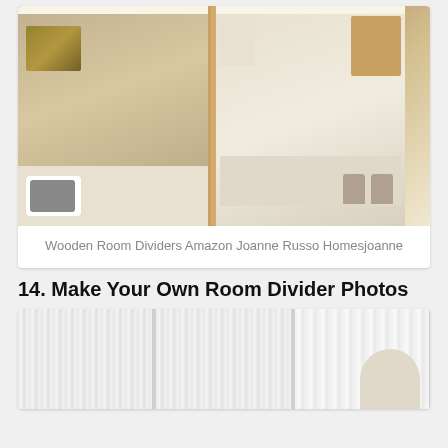[Figure (photo): Interior room with wooden slatted room divider separating a bedroom area (with white pillows) from a kitchen/dining area with wooden cabinets and bar stools]
Wooden Room Dividers Amazon Joanne Russo Homesjoanne
14. Make Your Own Room Divider Photos
[Figure (photo): White sheer curtains and horizontal blinds used as room dividers, with a glimpse of a chair on the right side]